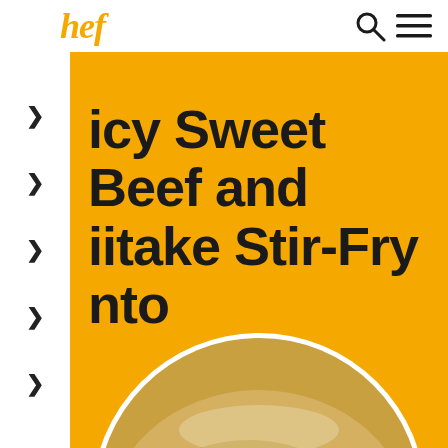hef
Spicy Sweet Beef and Shiitake Stir-Fry onto
[Figure (photo): Circular cropped photo of a stir-fry dish with beef, broccoli, and mushrooms in a brown sauce on a white plate, set against a yellow background.]